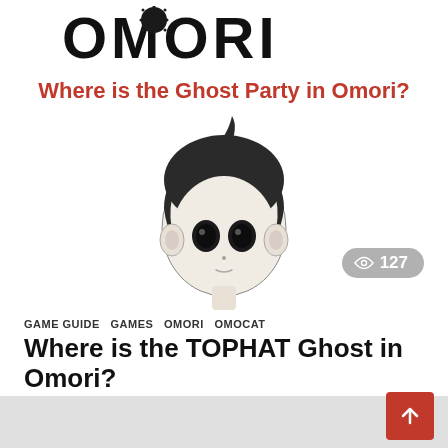[Figure (illustration): Hero image for article: OMORI game logo text at top in bold black letters with a dark sun icon. Red bold subtitle text reads 'Where is the Ghost Party in Omori?'. Below is a hand-drawn style cartoon character illustration of a boy with dark hair, large eyes, and small ears on a white background. A gray badge with an eye icon and '127' sits at bottom right of the image.]
GAME GUIDE   GAMES   OMORI   OMOCAT
Where is the TOPHAT Ghost in Omori?
by Ben Kemp 4 months ago